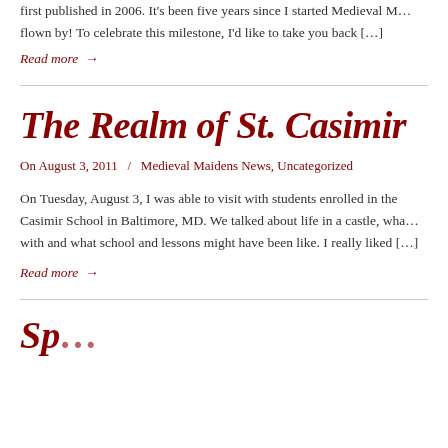first published in 2006. It's been five years since I started Medieval M… flown by! To celebrate this milestone, I'd like to take you back […]
Read more →
The Realm of St. Casimir
On August 3, 2011  /  Medieval Maidens News, Uncategorized
On Tuesday, August 3, I was able to visit with students enrolled in the Casimir School in Baltimore, MD. We talked about life in a castle, wha… with and what school and lessons might have been like. I really liked […]
Read more →
Sp…